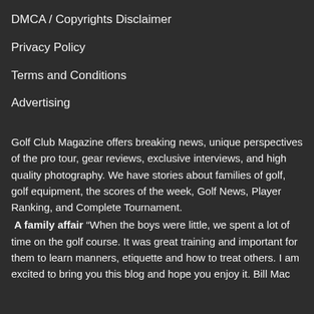DMCA / Copyrights Disclaimer
Privacy Policy
Terms and Conditions
Advertising
Golf Club Magazine offers breaking news, unique perspectives of the pro tour, gear reviews, exclusive interviews, and high quality photography. We have stories about families of golf, golf equipment, the scores of the week, Golf News, Player Ranking, and Complete Tournament.
A family affair “When the boys were little, we spent a lot of time on the golf course. It was great training and important for them to learn manners, etiquette and how to treat others. I am excited to bring you this blog and hope you enjoy it. Bill Mac